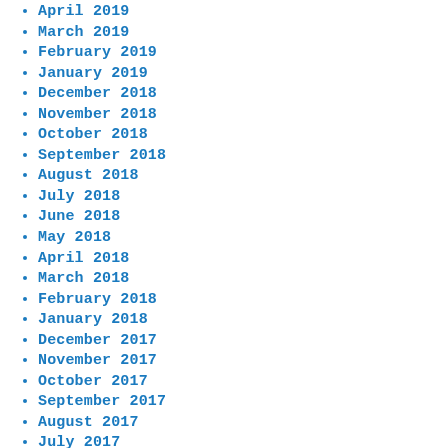April 2019
March 2019
February 2019
January 2019
December 2018
November 2018
October 2018
September 2018
August 2018
July 2018
June 2018
May 2018
April 2018
March 2018
February 2018
January 2018
December 2017
November 2017
October 2017
September 2017
August 2017
July 2017
June 2017
May 2017
April 2017
March 2017